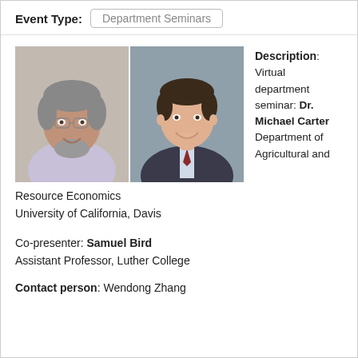Event Type: Department Seminars
[Figure (photo): Two headshot photos side by side: an older man with glasses and grey hair (left), and a younger man in a suit (right)]
Description: Virtual department seminar: Dr. Michael Carter Department of Agricultural and Resource Economics University of California, Davis
Co-presenter: Samuel Bird
Assistant Professor, Luther College
Contact person: Wendong Zhang